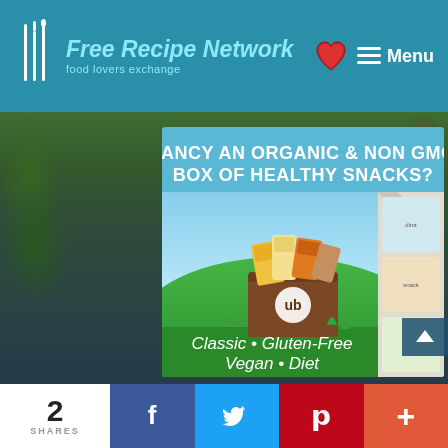Free Recipe Network — food lovers exchange | Menu
[Figure (infographic): Advertisement for organic & non-GMO snack box subscription service (ub brand). Blue background with illustrated snack packages in a brown box on a green hill. Text: FANCY AN ORGANIC & NON GMO BOX OF HEALTHY SNACKS? Classic • Gluten-Free Vegan • Diet]
[Figure (screenshot): Click & Grow advertisement banner, partially visible]
2 SHARES | Facebook | Twitter | Pinterest | More